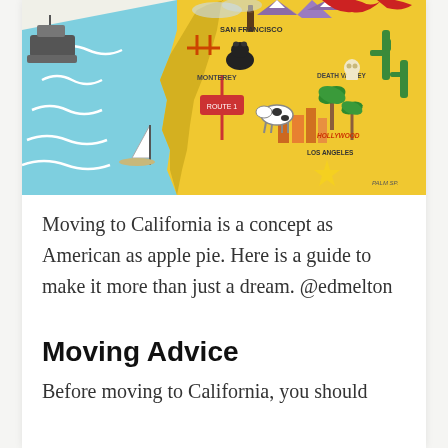[Figure (illustration): Illustrated colorful map of California showing San Francisco, Monterey, Death Valley, Hollywood, Los Angeles, and other landmarks with decorative icons including mountains, cacti, bears, ships, and a sailboat on a blue ocean.]
Moving to California is a concept as American as apple pie. Here is a guide to make it more than just a dream. @edmelton
Moving Advice
Before moving to California, you should